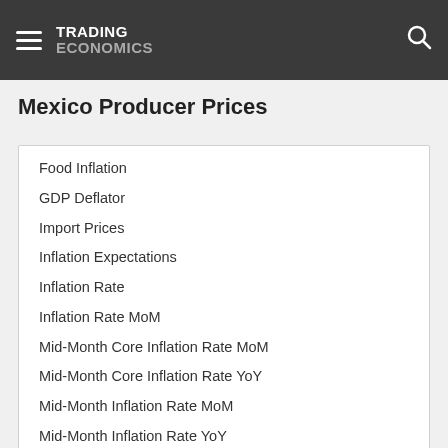TRADING ECONOMICS
Mexico Producer Prices
Food Inflation
GDP Deflator
Import Prices
Inflation Expectations
Inflation Rate
Inflation Rate MoM
Mid-Month Core Inflation Rate MoM
Mid-Month Core Inflation Rate YoY
Mid-Month Inflation Rate MoM
Mid-Month Inflation Rate YoY
Producer Price Inflation MoM
Producer Prices
Producer Prices Change
Health